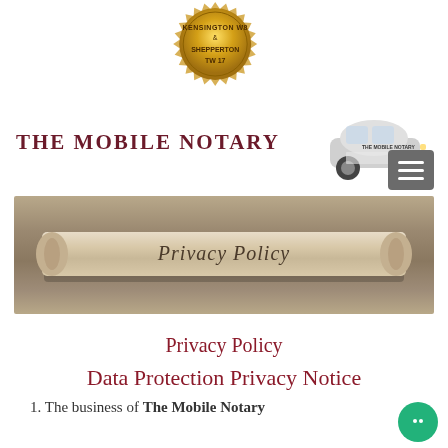[Figure (logo): Gold seal badge with text KENSINGTON W8 & SHEPPERTON TW 17]
THE MOBILE NOTARY
[Figure (photo): Smart car branded with The Mobile Notary logo]
[Figure (photo): Privacy Policy banner image showing a scroll of paper with text 'Privacy Policy']
Privacy Policy
Data Protection Privacy Notice
1. The business of The Mobile Notary